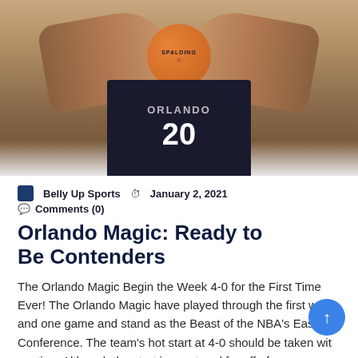[Figure (photo): Orlando Magic player wearing jersey number 20, holding a Spalding NBA basketball, shown from torso up with tattooed arms extended.]
Belly Up Sports  🕐  January 2, 2021
💬 Comments (0)
Orlando Magic: Ready to Be Contenders
The Orlando Magic Begin the Week 4-0 for the First Time Ever! The Orlando Magic have played through the first week and one game and stand as the Beast of the NBA's Eastern Conference. The team's hot start at 4-0 should be taken with caution. Although the start is great and far off of